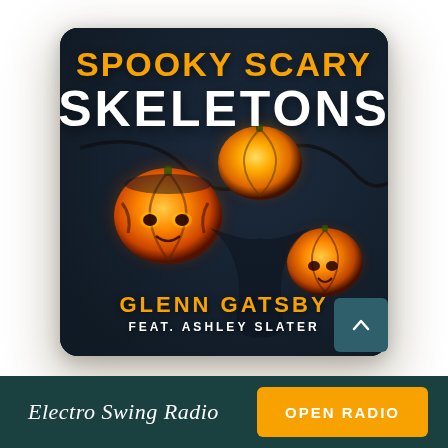[Figure (illustration): Album cover for 'Spooky Scary Skeletons' by Glenn Gatsby feat. Ashley Slater. Dark teal/navy background with glowing orange jack-o-lantern string lights. Title 'SPOOKY SCARY' in large orange bold text, 'SKELETONS' in large white bold text. Artist name 'GLENN GATSBY' in orange and 'FEAT. ASHLEY SLATER' in white below.]
Electro Swing Radio
OPEN RADIO